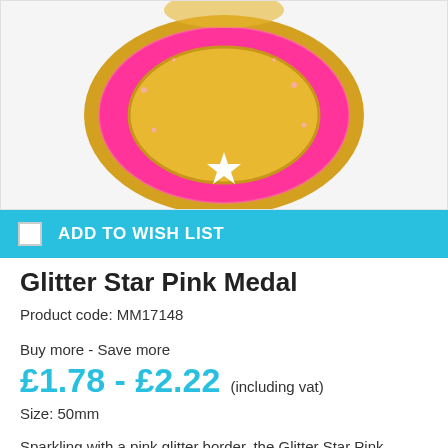[Figure (photo): A gold medal with pink glitter border and white star embossed design, partially shown from top]
ADD TO WISH LIST
Glitter Star Pink Medal
Product code: MM17148
Buy more - Save more
£1.78 - £2.22 (including vat)
Size: 50mm
Sparkling with a pink glitter border, the Glitter Star Pink Medal is a great choice if you need a medal with glitz. The medal is further decorated with a star embossed ring and two white stars. This design is also available in